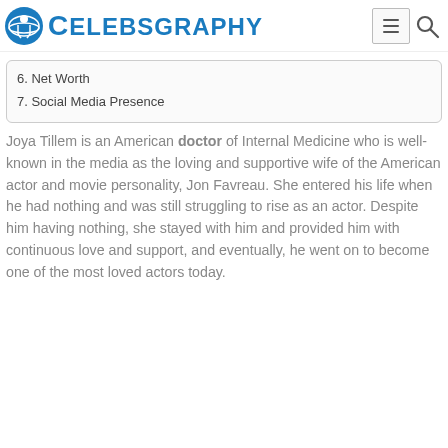CELEBSGRAPHY
6. Net Worth
7. Social Media Presence
Joya Tillem is an American doctor of Internal Medicine who is well-known in the media as the loving and supportive wife of the American actor and movie personality, Jon Favreau. She entered his life when he had nothing and was still struggling to rise as an actor. Despite him having nothing, she stayed with him and provided him with continuous love and support, and eventually, he went on to become one of the most loved actors today.